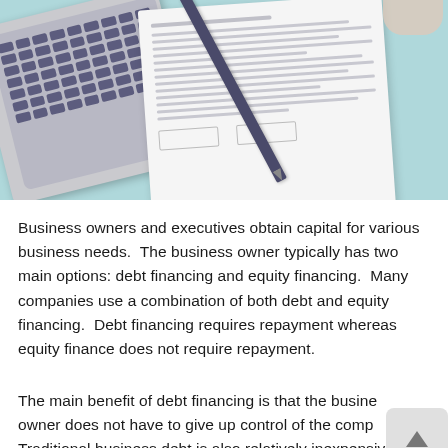[Figure (photo): Photo of a laptop keyboard with a document/contract paper and a pen on a teal/mint colored desk surface, with a partial cup visible at the top right]
Business owners and executives obtain capital for various business needs.  The business owner typically has two main options: debt financing and equity financing.  Many companies use a combination of both debt and equity financing.  Debt financing requires repayment whereas equity finance does not require repayment.
The main benefit of debt financing is that the business owner does not have to give up control of the comp... Traditional business debt is also relatively inexpensive